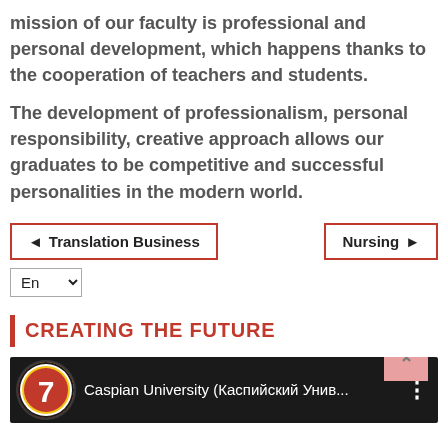mission of our faculty is professional and personal development, which happens thanks to the cooperation of teachers and students.
The development of professionalism, personal responsibility, creative approach allows our graduates to be competitive and successful personalities in the modern world.
◄ Translation Business    Nursing ►
En ˅
CREATING THE FUTURE
[Figure (screenshot): YouTube-style video thumbnail with Caspian University channel logo (number 7 in red and gold on black background) and title 'Caspian University (Каспийский Унив...' with three-dot menu icon]